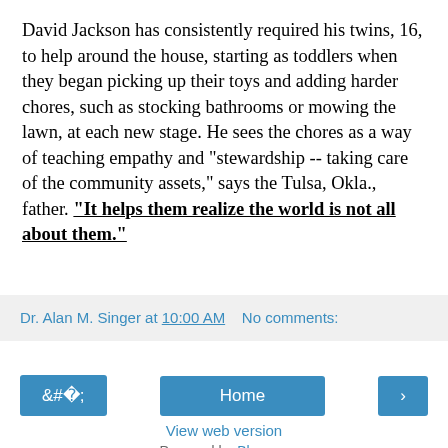David Jackson has consistently required his twins, 16, to help around the house, starting as toddlers when they began picking up their toys and adding harder chores, such as stocking bathrooms or mowing the lawn, at each new stage. He sees the chores as a way of teaching empathy and "stewardship -- taking care of the community assets," says the Tulsa, Okla., father. "It helps them realize the world is not all about them."
Dr. Alan M. Singer at 10:00 AM   No comments:
Home
View web version
Powered by Blogger.